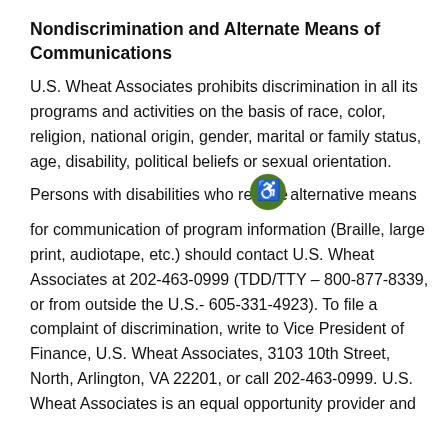Nondiscrimination and Alternate Means of Communications
U.S. Wheat Associates prohibits discrimination in all its programs and activities on the basis of race, color, religion, national origin, gender, marital or family status, age, disability, political beliefs or sexual orientation. Persons with disabilities who require alternative means for communication of program information (Braille, large print, audiotape, etc.) should contact U.S. Wheat Associates at 202-463-0999 (TDD/TTY – 800-877-8339, or from outside the U.S.- 605-331-4923). To file a complaint of discrimination, write to Vice President of Finance, U.S. Wheat Associates, 3103 10th Street, North, Arlington, VA 22201, or call 202-463-0999. U.S. Wheat Associates is an equal opportunity provider and